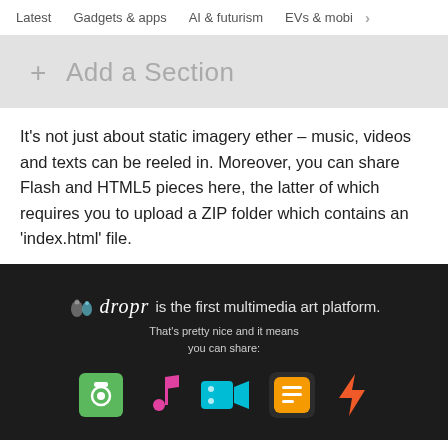Latest   Gadgets & apps   AI & futurism   EVs & mobi >
[Figure (screenshot): UI element showing '+ Add a Section' button in a light gray block]
It's not just about static imagery ether – music, videos and texts can be reeled in. Moreover, you can share Flash and HTML5 pieces here, the latter of which requires you to upload a ZIP folder which contains an 'index.html' file.
[Figure (screenshot): Dark-background Dropr promotional image. Shows dropr logo with tagline 'is the first multimedia art platform. That's pretty nice and it means you can share:' with five colored icons: camera (green), music note (pink), video camera (cyan), book/text (orange rounded square), lightning bolt (orange/red).]